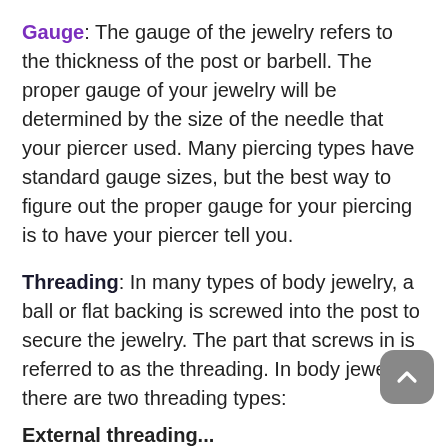Gauge: The gauge of the jewelry refers to the thickness of the post or barbell. The proper gauge of your jewelry will be determined by the size of the needle that your piercer used. Many piercing types have standard gauge sizes, but the best way to figure out the proper gauge for your piercing is to have your piercer tell you.
Threading: In many types of body jewelry, a ball or flat backing is screwed into the post to secure the jewelry. The part that screws in is referred to as the threading. In body jewelry, there are two threading types:
External threading...